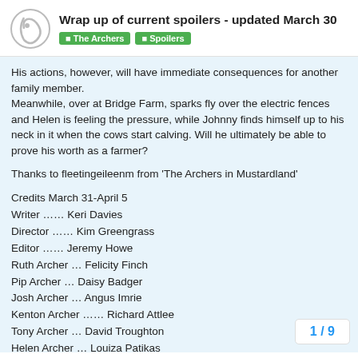Wrap up of current spoilers - updated March 30
The Archers | Spoilers
His actions, however, will have immediate consequences for another family member.
Meanwhile, over at Bridge Farm, sparks fly over the electric fences and Helen is feeling the pressure, while Johnny finds himself up to his neck in it when the cows start calving. Will he ultimately be able to prove his worth as a farmer?
Thanks to fleetingeileenm from ‘The Archers in Mustardland’
Credits March 31-April 5
Writer …… Keri Davies
Director …… Kim Greengrass
Editor …… Jeremy Howe
Ruth Archer … Felicity Finch
Pip Archer … Daisy Badger
Josh Archer … Angus Imrie
Kenton Archer …… Richard Attlee
Tony Archer … David Troughton
Helen Archer … Louiza Patikas